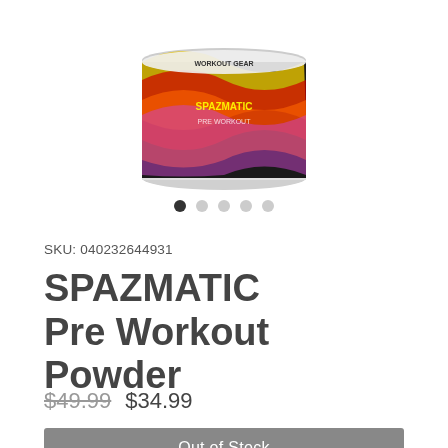[Figure (photo): Product photo of SPAZMATIC Pre Workout Powder supplement container with colorful psychedelic label, showing top portion of the tub]
SKU: 040232644931
SPAZMATIC Pre Workout Powder
$49.99 $34.99
Out of Stock